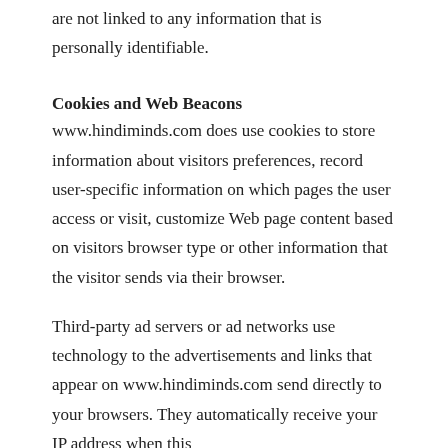are not linked to any information that is personally identifiable.
Cookies and Web Beacons
www.hindiminds.com does use cookies to store information about visitors preferences, record user-specific information on which pages the user access or visit, customize Web page content based on visitors browser type or other information that the visitor sends via their browser.
Third-party ad servers or ad networks use technology to the advertisements and links that appear on www.hindiminds.com send directly to your browsers. They automatically receive your IP address when this